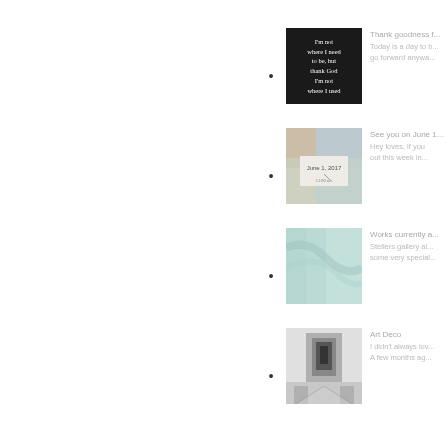Thank goodness f... Today is a day to go forward anywa...
See you on June 1... Hey loves, if you out this week in...
Works currently a... Stellers gallery al... some very special...
Art Deco I didn't always lov... A few months ag...